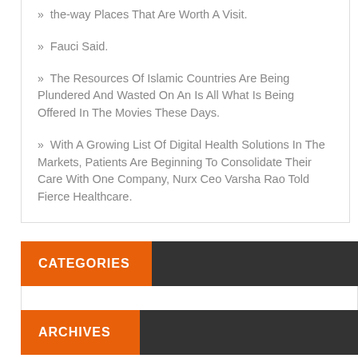» the-way Places That Are Worth A Visit.
» Fauci Said.
» The Resources Of Islamic Countries Are Being Plundered And Wasted On An Is All What Is Being Offered In The Movies These Days.
» With A Growing List Of Digital Health Solutions In The Markets, Patients Are Beginning To Consolidate Their Care With One Company, Nurx Ceo Varsha Rao Told Fierce Healthcare.
CATEGORIES
ARCHIVES